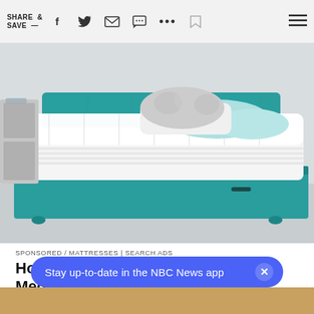SHARE & SAVE —  [social icons: facebook, twitter, email, message, more, bookmark, menu]
[Figure (photo): A white pillow-top mattress on a teal/turquoise upholstered bed frame with a tufted headboard. Several pillows including a shaggy decorative pillow are placed against the headboard. The photo is taken in a modern bedroom setting.]
SPONSORED / MATTRESSES  |  SEARCH ADS
How To Get A New Mattress From Medicare Today.
Stay up-to-date in the NBC News app  ×